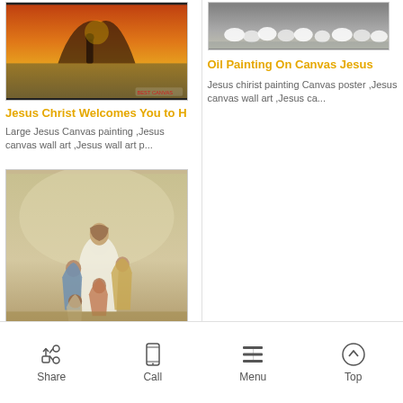[Figure (photo): Canvas painting of Jesus in a desert landscape at sunset, with warm orange and golden tones]
Jesus Christ Welcomes You to H
Large Jesus Canvas painting ,Jesus canvas wall art ,Jesus wall art p...
[Figure (photo): Canvas painting of sheep in a misty landscape]
Oil Painting On Canvas Jesus
Jesus chirist painting Canvas poster ,Jesus canvas wall art ,Jesus ca...
[Figure (photo): Canvas painting of Jesus with children gathered around him]
Share  Call  Menu  Top